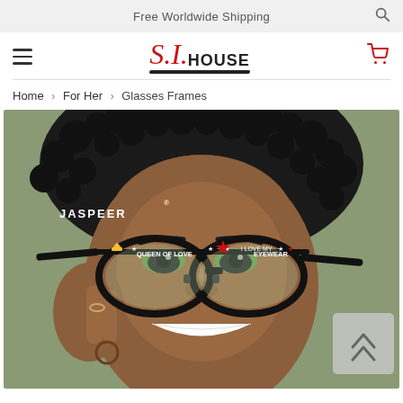Free Worldwide Shipping
[Figure (logo): S.J. House logo with red italic SJ and black HOUSE text with underline swoosh]
Home > For Her > Glasses Frames
[Figure (photo): Woman with curly hair wearing JASPEER branded oversized cat-eye glasses frames decorated with 'QUEEN OF LOVE' text and star/crown motifs. She is smiling and holding the glasses with one hand. Green eye shadow visible through the clear lenses.]